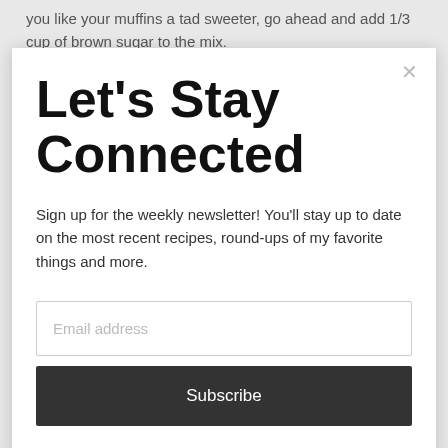you like your muffins a tad sweeter, go ahead and add 1/3 cup of brown sugar to the mix.
Let's Stay Connected
Sign up for the weekly newsletter! You'll stay up to date on the most recent recipes, round-ups of my favorite things and more.
[Figure (screenshot): Email address input field (empty, placeholder text 'Email address')]
[Figure (screenshot): Subscribe button, dark background with white text 'Subscribe']
[Figure (photo): Partial food photo at bottom of page showing baked muffins or pastry items]